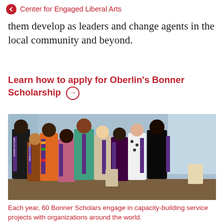← Center for Engaged Liberal Arts
them develop as leaders and change agents in the local community and beyond.
Learn how to apply for Oberlin's Bonner Scholarship →
[Figure (photo): Group photo of approximately 10 Bonner Scholars wearing purple Oberlin College sashes/stoles with kente cloth accents, posing together indoors near large windows]
Each year, 60 Bonner Scholars engage in capacity-building service projects with organizations around the world.